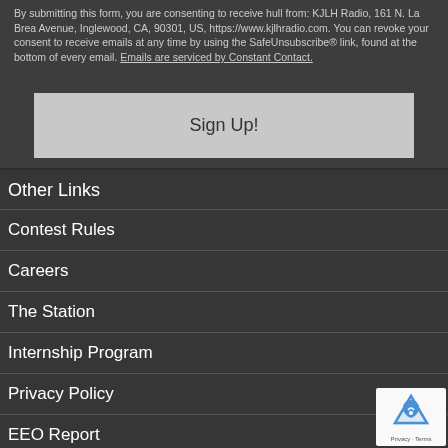By submitting this form, you are consenting to receive hull from: KJLH Radio, 161 N. La Brea Avenue, Inglewood, CA, 90301, US, https://www.kjlhradio.com. You can revoke your consent to receive emails at any time by using the SafeUnsubscribe® link, found at the bottom of every email. Emails are serviced by Constant Contact.
Sign Up!
Other Links
Contest Rules
Careers
The Station
Internship Program
Privacy Policy
EEO Report
FCC Public File